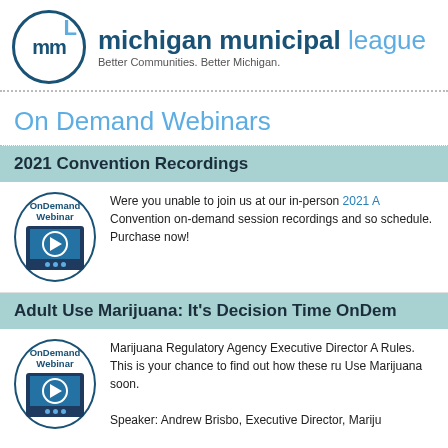michigan municipal league — Better Communities. Better Michigan.
On Demand Webinars
2021 Convention Recordings
Were you unable to join us at our in-person 2021 A... Convention on-demand session recordings and so... schedule. Purchase now!
Adult Use Marijuana: It's Decision Time OnDem...
Marijuana Regulatory Agency Executive Director A... Rules. This is your chance to find out how these ru... Use Marijuana soon.

Speaker: Andrew Brisbo, Executive Director, Mariju...